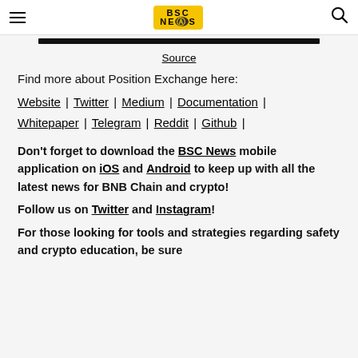BSC NEWS
[Figure (other): Black navigation bar/banner image]
Source
Find more about Position Exchange here:
Website | Twitter | Medium | Documentation | Whitepaper | Telegram | Reddit | Github |
Don't forget to download the BSC News mobile application on iOS and Android to keep up with all the latest news for BNB Chain and crypto!
Follow us on Twitter and Instagram!
For those looking for tools and strategies regarding safety and crypto education, be sure